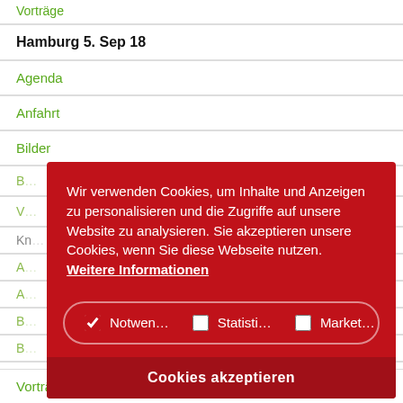Vorträge
Hamburg 5. Sep 18
Agenda
Anfahrt
Bilder
[Figure (screenshot): Cookie consent overlay popup with red background. Text: 'Wir verwenden Cookies, um Inhalte und Anzeigen zu personalisieren und die Zugriffe auf unsere Website zu analysieren. Sie akzeptieren unsere Cookies, wenn Sie diese Webseite nutzen. Weitere Informationen'. Checkboxes: Notwen... (checked), Statisti... (unchecked), Market... (unchecked). Button: 'Cookies akzeptieren'.]
Vorträge